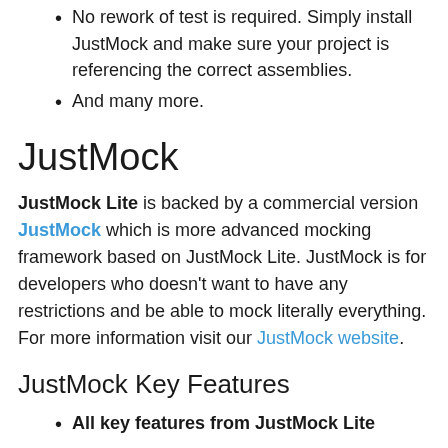No rework of test is required. Simply install JustMock and make sure your project is referencing the correct assemblies.
And many more.
JustMock
JustMock Lite is backed by a commercial version JustMock which is more advanced mocking framework based on JustMock Lite. JustMock is for developers who doesn't want to have any restrictions and be able to mock literally everything. For more information visit our JustMock website.
JustMock Key Features
All key features from JustMock Lite
Mock non-public members and types - Allows you to mock non-public members or types.
Mock...